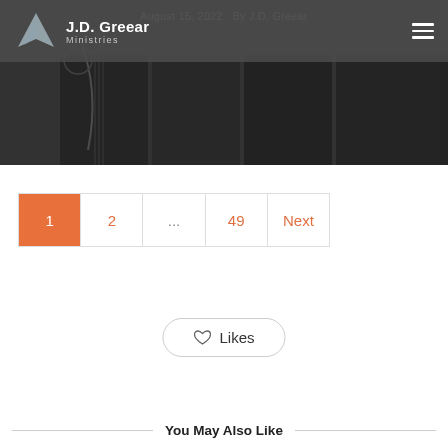J.D. Greear Ministries
[Figure (photo): Dark hero image background with panels and a guitar/musical instrument, partially obscured by navigation header overlay with text 'August 15, 2022 By J.D. Greear']
1  2  ...  49  Next
Likes
You May Also Like